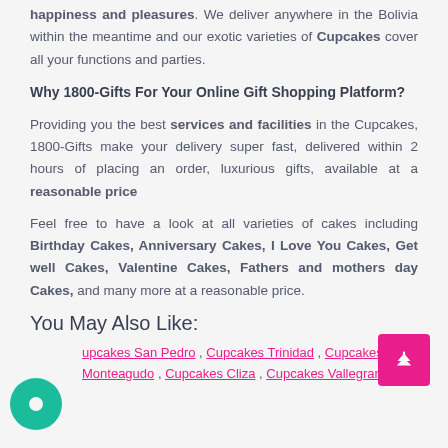happiness and pleasures. We deliver anywhere in the Bolivia within the meantime and our exotic varieties of Cupcakes cover all your functions and parties.
Why 1800-Gifts For Your Online Gift Shopping Platform?
Providing you the best services and facilities in the Cupcakes, 1800-Gifts make your delivery super fast, delivered within 2 hours of placing an order, luxurious gifts, available at a reasonable price
Feel free to have a look at all varieties of cakes including Birthday Cakes, Anniversary Cakes, I Love You Cakes, Get well Cakes, Valentine Cakes, Fathers and mothers day Cakes, and many more at a reasonable price.
You May Also Like:
Cupcakes San Pedro , Cupcakes Trinidad , Cupcakes Monteagudo , Cupcakes Cliza , Cupcakes Vallegrande ,